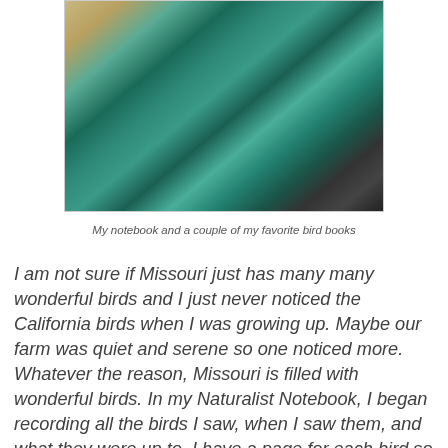[Figure (photo): A teal/green spiral-bound 3-subject notebook with a couple of bird books visible on a wooden surface]
My notebook and a couple of my favorite bird books
I am not sure if Missouri just has many many wonderful birds and I just never noticed the California birds when I was growing up. Maybe our farm was quiet and serene so one noticed more.  Whatever the reason, Missouri is filled with wonderful birds.  In my Naturalist Notebook, I began recording all the birds I saw, when I saw them, and what they were up to.  I have a page for each bird so I can record sightings made at different times and places and seasons.  A